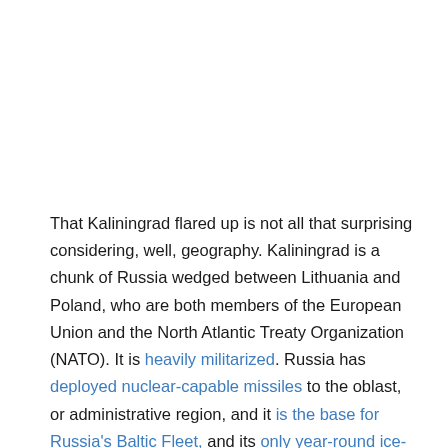That Kaliningrad flared up is not all that surprising considering, well, geography. Kaliningrad is a chunk of Russia wedged between Lithuania and Poland, who are both members of the European Union and the North Atlantic Treaty Organization (NATO). It is heavily militarized. Russia has deployed nuclear-capable missiles to the oblast, or administrative region, and it is the base for Russia's Baltic Fleet, and its only year-round ice-free port. Minor close calls have happened before in the region, so when war broke out in Europe, Kaliningrad was always a point of potential volatility.
It is a reminder that Russia's Ukraine invasion — and the West's intense mobilization in response — always risked worsening tensions outside of Ukraine.